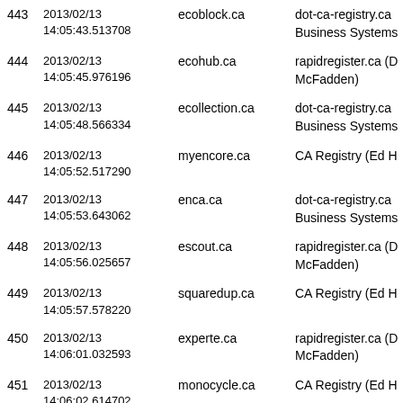| # | Date/Time | Domain | Registrar |
| --- | --- | --- | --- |
| 443 | 2013/02/13 14:05:43.513708 | ecoblock.ca | dot-ca-registry.ca Business Systems |
| 444 | 2013/02/13 14:05:45.976196 | ecohub.ca | rapidregister.ca (D McFadden) |
| 445 | 2013/02/13 14:05:48.566334 | ecollection.ca | dot-ca-registry.ca Business Systems |
| 446 | 2013/02/13 14:05:52.517290 | myencore.ca | CA Registry (Ed H |
| 447 | 2013/02/13 14:05:53.643062 | enca.ca | dot-ca-registry.ca Business Systems |
| 448 | 2013/02/13 14:05:56.025657 | escout.ca | rapidregister.ca (D McFadden) |
| 449 | 2013/02/13 14:05:57.578220 | squaredup.ca | CA Registry (Ed H |
| 450 | 2013/02/13 14:06:01.032593 | experte.ca | rapidregister.ca (D McFadden) |
| 451 | 2013/02/13 14:06:02.614702 | monocycle.ca | CA Registry (Ed H |
| 452 | 2013/02/13 14:06:11.052344 | cafeccino.ca | rapidregister.ca (D McFadden) |
|  | 2013/02/13 |  |  |